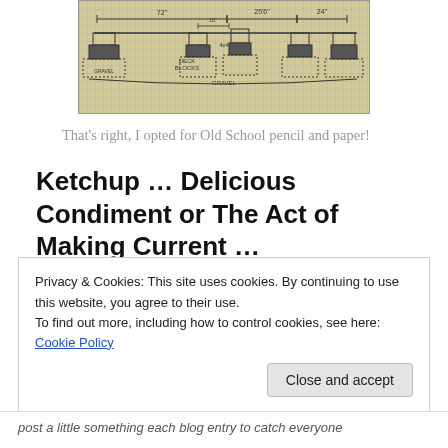[Figure (engineering-diagram): Hand-drawn pencil sketch on graph paper showing a structural/deck plan with dimensions labeled 72", 25'6", 24", and 4x4 lumber, deck blocks, and gravel noted.]
That’s right, I opted for Old School pencil and paper!
Ketchup … Delicious Condiment or The Act of Making Current …
Privacy & Cookies: This site uses cookies. By continuing to use this website, you agree to their use.
To find out more, including how to control cookies, see here: Cookie Policy
post a little something each blog entry to catch everyone